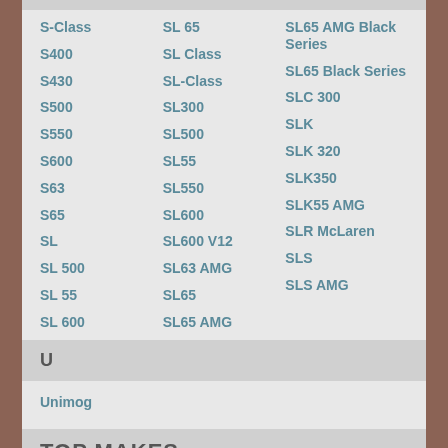S-Class
S400
S430
S500
S550
S600
S63
S65
SL
SL 500
SL 55
SL 600
SL 65
SL Class
SL-Class
SL300
SL500
SL55
SL550
SL600
SL600 V12
SL63 AMG
SL65
SL65 AMG
SL65 AMG Black Series
SL65 Black Series
SLC 300
SLK
SLK 320
SLK350
SLK55 AMG
SLR McLaren
SLS
SLS AMG
U
Unimog
TOP MAKES
Porsche
Ferrari
Maserati
Ford
Aston Martin
Pontiac